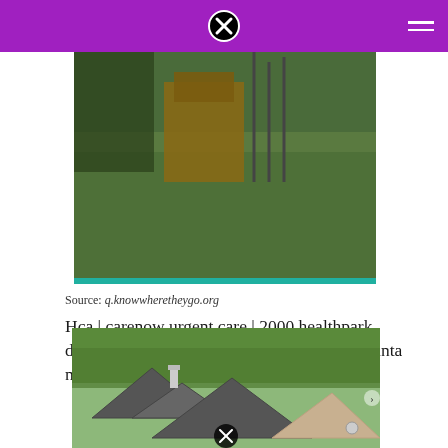[Figure (photo): Outdoor photo showing a grassy hillside with wooden structure and metal rods/stakes in the background]
Source: q.knowwheretheygo.org
Hca | carenow urgent care | 2000 healthpark drive, brentwood, tn, 37027 | 1156 26th st, santa monica, ca 90403.
[Figure (photo): Aerial view of residential houses with grey rooftops surrounded by green trees]